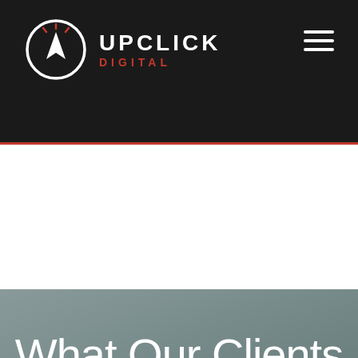UPCLICK DIGITAL
What Our Clients Say
"UpClick Digital is the perfect blend of